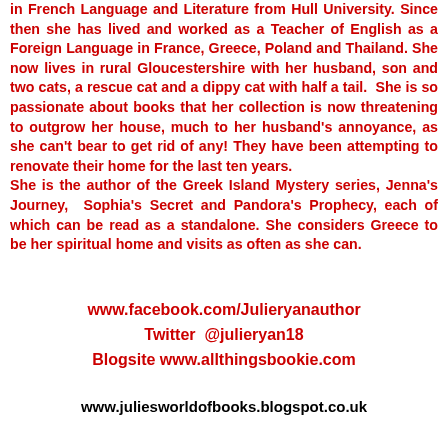in French Language and Literature from Hull University. Since then she has lived and worked as a Teacher of English as a Foreign Language in France, Greece, Poland and Thailand. She now lives in rural Gloucestershire with her husband, son and two cats, a rescue cat and a dippy cat with half a tail.  She is so passionate about books that her collection is now threatening to outgrow her house, much to her husband's annoyance, as she can't bear to get rid of any! They have been attempting to renovate their home for the last ten years. She is the author of the Greek Island Mystery series, Jenna's Journey,  Sophia's Secret and Pandora's Prophecy, each of which can be read as a standalone. She considers Greece to be her spiritual home and visits as often as she can.
www.facebook.com/Julieryanauthor
Twitter  @julieryan18
Blogsite www.allthingsbookie.com
www.juliesworldofbooks.blogspot.co.uk